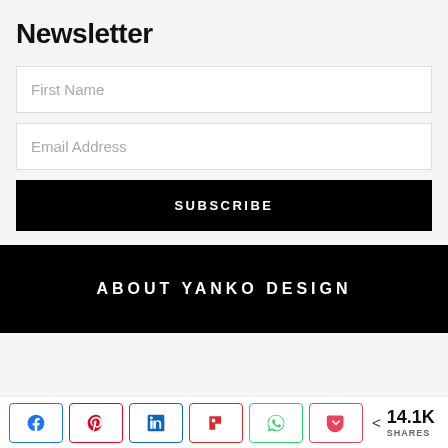Newsletter
First Name
Email Address
SUBSCRIBE
ABOUT YANKO DESIGN
< 14.1K SHARES (with social share icons: Facebook, Pinterest, LinkedIn, Flipboard, WhatsApp, Pocket)